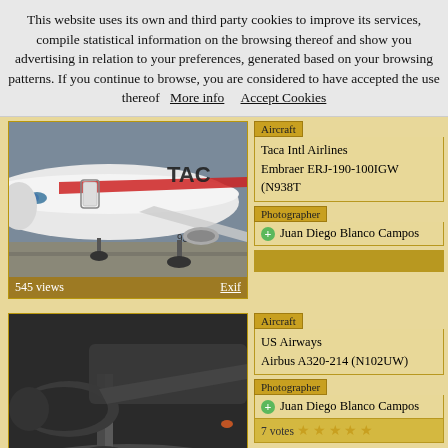This website uses its own and third party cookies to improve its services, compile statistical information on the browsing thereof and show you advertising in relation to your preferences, generated based on your browsing patterns. If you continue to browse, you are considered to have accepted the use thereof  More info     Accept Cookies
[Figure (photo): Taca International Airlines Embraer ERJ-190 aircraft on tarmac, nose and cockpit visible with TACA livery, 545 views]
Taca Intl Airlines
Embraer ERJ-190-100IGW (N938T
Photographer
Juan Diego Blanco Campos
[Figure (photo): US Airways Airbus A320 landing gear and undercarriage in motion with spray, black and white tones, 1167 views]
Aircraft
US Airways
Airbus A320-214 (N102UW)
Photographer
Juan Diego Blanco Campos
7 votes ★ ★ ★ ★ ★